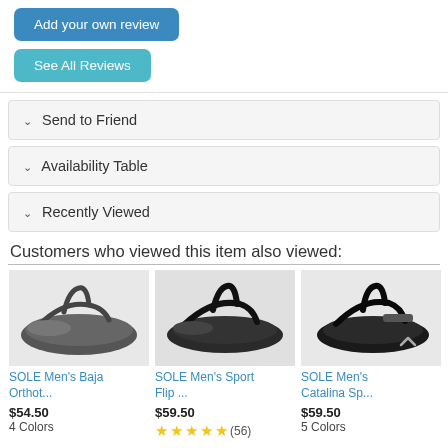Add your own review
See All Reviews
Send to Friend
Availability Table
Recently Viewed
Customers who viewed this item also viewed:
[Figure (photo): SOLE Men's Baja Orthot... sandal product image]
SOLE Men's Baja Orthot...
$54.50
4 Colors
[Figure (photo): SOLE Men's Sport Flip ... sandal product image]
SOLE Men's Sport Flip ...
$59.50
(56) stars rating
[Figure (photo): SOLE Men's Catalina Sp... sandal product image]
SOLE Men's Catalina Sp...
$59.50
5 Colors